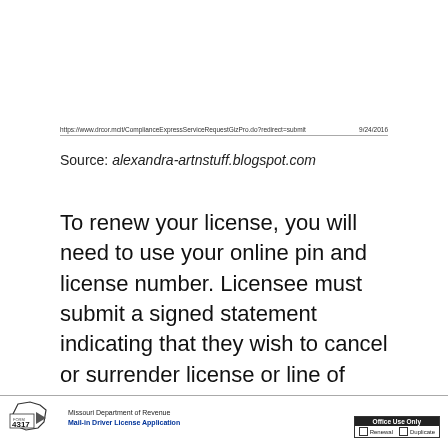https://www.drcor.mcit/ComplianceExpressServiceRequestGizPro.do?redirect=submit	9/24/2016
Source: alexandra-artnstuff.blogspot.com
To renew your license, you will need to use your online pin and license number. Licensee must submit a signed statement indicating that they wish to cancel or surrender license or line of authority.
Missouri Department of Revenue Mail-in Driver License Application Form 4317 | Office Use Only: Personal / Duplicate